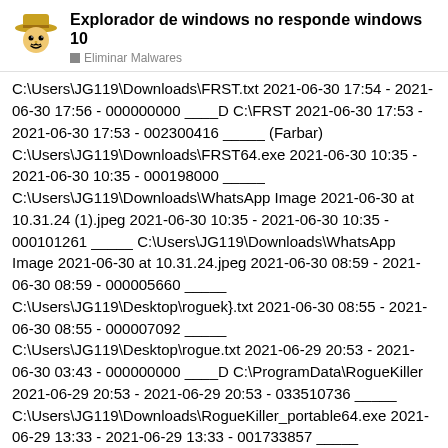Explorador de windows no responde windows 10 — Eliminar Malwares
C:\Users\JG119\Downloads\FRST.txt 2021-06-30 17:54 - 2021-06-30 17:56 - 000000000 ____D C:\FRST 2021-06-30 17:53 - 2021-06-30 17:53 - 002300416 _____ (Farbar) C:\Users\JG119\Downloads\FRST64.exe 2021-06-30 10:35 - 2021-06-30 10:35 - 000198000 _____ C:\Users\JG119\Downloads\WhatsApp Image 2021-06-30 at 10.31.24 (1).jpeg 2021-06-30 10:35 - 2021-06-30 10:35 - 000101261 _____ C:\Users\JG119\Downloads\WhatsApp Image 2021-06-30 at 10.31.24.jpeg 2021-06-30 08:59 - 2021-06-30 08:59 - 000005660 _____ C:\Users\JG119\Desktop\roguek}.txt 2021-06-30 08:55 - 2021-06-30 08:55 - 000007092 _____ C:\Users\JG119\Desktop\rogue.txt 2021-06-29 20:53 - 2021-06-30 03:43 - 000000000 ____D C:\ProgramData\RogueKiller 2021-06-29 20:53 - 2021-06-29 20:53 - 033510736 _____ C:\Users\JG119\Downloads\RogueKiller_portable64.exe 2021-06-29 13:33 - 2021-06-29 13:33 - 001733857 _____ C:\Users\JG119\Downloads\WhatsApp Un... 13.33.22.zip 2021-06-29 12:20 - 2021-06-...
37 / 54